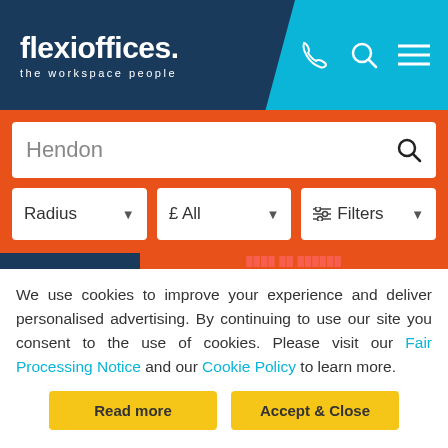[Figure (logo): flexioffices. the workspace people logo on dark navy background with phone, search, and menu icons on cyan background]
[Figure (screenshot): Search bar with 'Hendon' text and search icon, below with Radius dropdown, £ All dropdown, and Filters dropdown on orange background]
We use cookies to improve your experience and deliver personalised advertising. By continuing to use our site you consent to the use of cookies. Please visit our Fair Processing Notice and our Cookie Policy to learn more.
[Figure (screenshot): Two yellow buttons: 'Read more' and 'Accept & Close']
Finchley Central Station (0.5 mi)
Mill Hill East (1.1 mi)